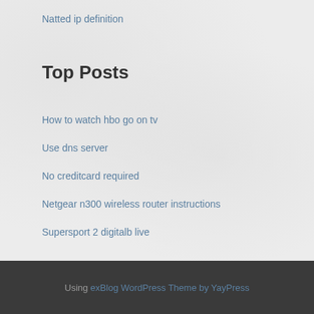Natted ip definition
Top Posts
How to watch hbo go on tv
Use dns server
No creditcard required
Netgear n300 wireless router instructions
Supersport 2 digitalb live
Using exBlog WordPress Theme by YayPress